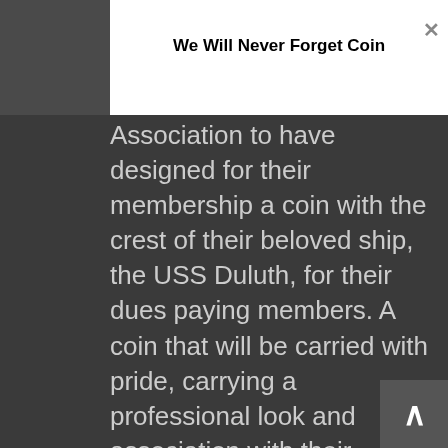We Will Never Forget Coin
Association to have designed for their membership a coin with the crest of their beloved ship, the USS Duluth, for their dues paying members. A coin that will be carried with pride, carrying a professional look and association with their nautical heritage as an amphibious United States Navy sea going warship.
[Figure (other): USS Duluth LPD-6 Shirt image link placeholder]
So who is the USS Duluth? Who was she? The USS Duluth Assocation website located at http://www.ussduluth.org/ helps